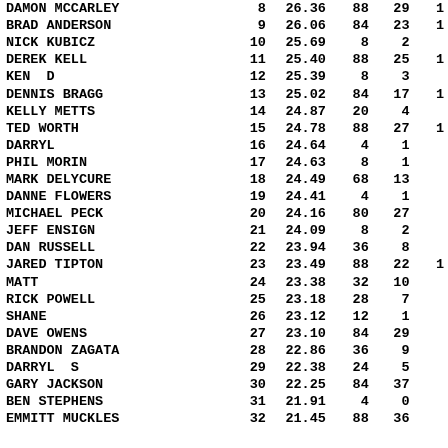| NAME | # | AVG | G | POS |  |
| --- | --- | --- | --- | --- | --- |
| DAMON MCCARLEY | 8 | 26.36 | 88 | 29 | 1 |
| BRAD ANDERSON | 9 | 26.06 | 84 | 23 | 1 |
| NICK KUBICZ | 10 | 25.69 | 8 | 2 |  |
| DEREK KELL | 11 | 25.40 | 88 | 25 | 1 |
| KEN  D | 12 | 25.39 | 8 | 3 |  |
| DENNIS BRAGG | 13 | 25.02 | 84 | 17 | 1 |
| KELLY METTS | 14 | 24.87 | 20 | 4 |  |
| TED WORTH | 15 | 24.78 | 88 | 27 | 1 |
| DARRYL | 16 | 24.64 | 4 | 1 |  |
| PHIL MORIN | 17 | 24.63 | 8 | 1 |  |
| MARK DELYCURE | 18 | 24.49 | 68 | 13 |  |
| DANNE FLOWERS | 19 | 24.41 | 4 | 1 |  |
| MICHAEL PECK | 20 | 24.16 | 80 | 27 |  |
| JEFF ENSIGN | 21 | 24.09 | 8 | 2 |  |
| DAN RUSSELL | 22 | 23.94 | 36 | 8 |  |
| JARED TIPTON | 23 | 23.49 | 88 | 22 | 1 |
| MATT | 24 | 23.38 | 32 | 10 |  |
| RICK POWELL | 25 | 23.18 | 28 | 7 |  |
| SHANE | 26 | 23.12 | 12 | 1 |  |
| DAVE OWENS | 27 | 23.10 | 84 | 29 |  |
| BRANDON ZAGATA | 28 | 22.86 | 36 | 9 |  |
| DARRYL  S | 29 | 22.38 | 24 | 5 |  |
| GARY JACKSON | 30 | 22.25 | 84 | 37 |  |
| BEN STEPHENS | 31 | 21.91 | 4 | 0 |  |
| EMMITT MUCKLES | 32 | 21.45 | 88 | 36 |  |